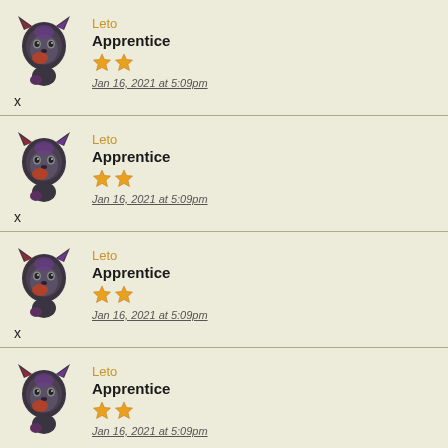Leto
Apprentice
★★
Jan 16, 2021 at 5:09pm
x
Leto
Apprentice
★★
Jan 16, 2021 at 5:09pm
x
Leto
Apprentice
★★
Jan 16, 2021 at 5:09pm
x
Leto
Apprentice
★★
Jan 16, 2021 at 5:09pm